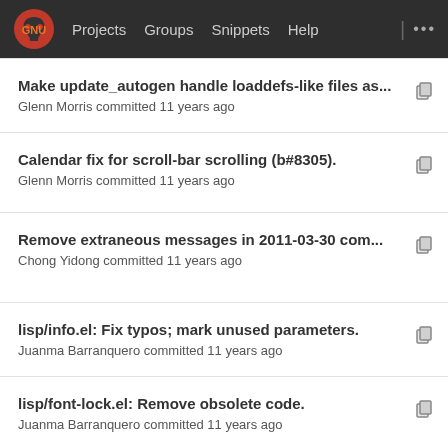Projects  Groups  Snippets  Help
Make update_autogen handle loaddefs-like files as...
Glenn Morris committed 11 years ago
Calendar fix for scroll-bar scrolling (b#8305).
Glenn Morris committed 11 years ago
Remove extraneous messages in 2011-03-30 com...
Chong Yidong committed 11 years ago
lisp/info.el: Fix typos; mark unused parameters.
Juanma Barranquero committed 11 years ago
lisp/font-lock.el: Remove obsolete code.
Juanma Barranquero committed 11 years ago